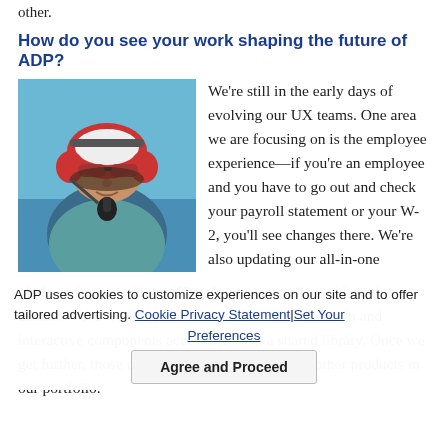other.
How do you see your work shaping the future of ADP?
[Figure (photo): Person wearing aviation headset and sunglasses, smiling, with a microphone visible and sky in background.]
We're still in the early days of evolving our UX teams. One area we are focusing on is the employee experience—if you're an employee and you have to go out and check your payroll statement or your W-2, you'll see changes there. We're also updating our all-in-one platform for payroll and HR software targeted at mid-market clients. We're working to make all of our visual design and interactive components accessible from a shared library. Once we get further, those changes will be visible across other products in our portfolio.
ADP uses cookies to customize experiences on our site and to offer tailored advertising. Cookie Privacy Statement | Set Your Preferences
Agree and Proceed